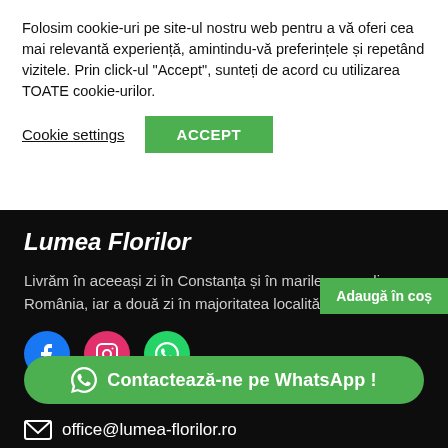Folosim cookie-uri pe site-ul nostru web pentru a vă oferi cea mai relevantă experiență, amintindu-vă preferințele și repetând vizitele. Prin click-ul "Accept", sunteți de acord cu utilizarea TOATE cookie-urilor.
Cookie settings
ACCEPT
Lumea Florilor
Livrăm în aceeași zi în Constanța și în marile orașe din România, iar a două zi în majoritatea localităților.
[Figure (logo): Facebook circle icon (blue)]
[Figure (logo): Instagram circle icon (pink/red)]
[Figure (logo): WhatsApp circle icon (green)]
Adaugă în coș
Contactează-ne pe WhatsApp !
office@lumea-florilor.ro